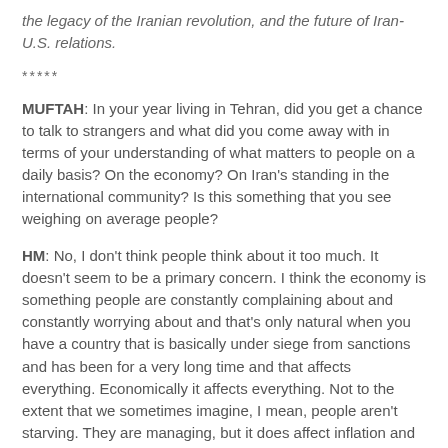the legacy of the Iranian revolution, and the future of Iran-U.S. relations.
*****
MUFTAH: In your year living in Tehran, did you get a chance to talk to strangers and what did you come away with in terms of your understanding of what matters to people on a daily basis? On the economy? On Iran's standing in the international community? Is this something that you see weighing on average people?
HM: No, I don't think people think about it too much. It doesn't seem to be a primary concern. I think the economy is something people are constantly complaining about and constantly worrying about and that's only natural when you have a country that is basically under siege from sanctions and has been for a very long time and that affects everything. Economically it affects everything. Not to the extent that we sometimes imagine, I mean, people aren't starving. They are managing, but it does affect inflation and all the other things.